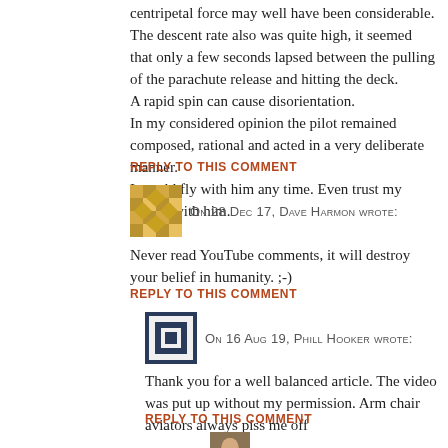centripetal force may well have been considerable. The descent rate also was quite high, it seemed that only a few seconds lapsed between the pulling of the parachute release and hitting the deck.
A rapid spin can cause disorientation.
In my considered opinion the pilot remained composed, rational and acted in a very deliberate manner.
I would fly with him any time. Even trust my family with him.
REPLY TO THIS COMMENT
On 28 Dec 17, Dave Harmon wrote:
Never read YouTube comments, it will destroy your belief in humanity. ;-)
REPLY TO THIS COMMENT
On 16 Aug 19, Phill Hooker wrote:
Thank you for a well balanced article. The video was put up without my permission. Arm chair aviators always piss me off
REPLY TO THIS COMMENT
On 9 Sep 19, Sylvia wrote: